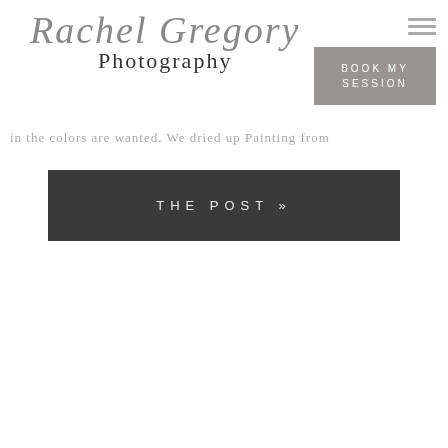Rachel Gregory Photography
in the colors are wanted. We dried up Painting from
[Figure (other): Dark rectangular button with text 'THE POST »' in spaced white caps on dark charcoal background]